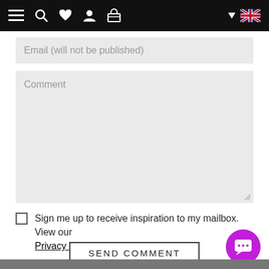[Figure (screenshot): Top navigation bar with hamburger menu, search, heart, user, basket icons on black background, and UK flag on right]
Email (will not be published)
Comment
Sign me up to receive inspiration to my mailbox. View our Privacy Policy
SEND COMMENT
Most Popular